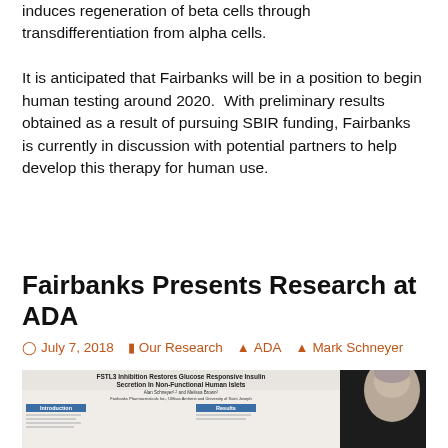induces regeneration of beta cells through transdifferentiation from alpha cells.
It is anticipated that Fairbanks will be in a position to begin human testing around 2020. With preliminary results obtained as a result of pursuing SBIR funding, Fairbanks is currently in discussion with potential partners to help develop this therapy for human use.
Fairbanks Presents Research at ADA
July 7, 2018   Our Research   ADA   Mark Schneyer
[Figure (photo): Photo of a conference poster presentation. The poster title reads 'FSTL3 Inhibition Restores Glucose Responsive Insulin Secretion In Non-Functional Human Islets' by Alan Schneyer and Melissa Brown, Fairbanks Pharmaceuticals Inc., UMass Amherst and University of Saint Joseph. A man's head is partially visible on the right side of the image.]